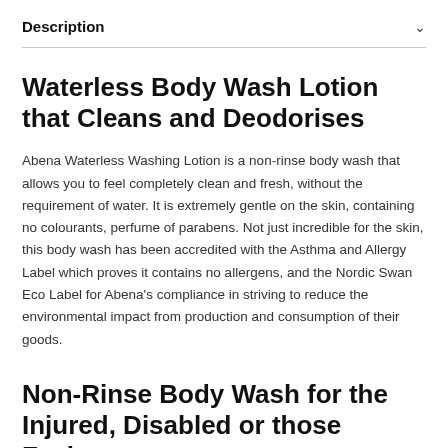Description
Waterless Body Wash Lotion that Cleans and Deodorises
Abena Waterless Washing Lotion is a non-rinse body wash that allows you to feel completely clean and fresh, without the requirement of water. It is extremely gentle on the skin, containing no colourants, perfume of parabens. Not just incredible for the skin, this body wash has been accredited with the Asthma and Allergy Label which proves it contains no allergens, and the Nordic Swan Eco Label for Abena's compliance in striving to reduce the environmental impact from production and consumption of their goods.
Non-Rinse Body Wash for the Injured, Disabled or those Facing